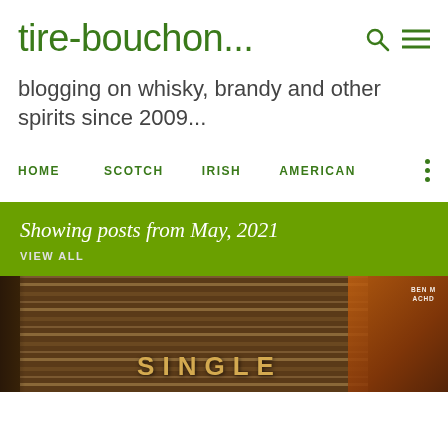tire-bouchon...
blogging on whisky, brandy and other spirits since 2009...
HOME   SCOTCH   IRISH   AMERICAN
Showing posts from May, 2021
VIEW ALL
[Figure (photo): Close-up photo of a whisky barrel or bottle showing the word SINGLE in gold lettering on a dark wooden background, with an orange/brown hue on the right side]